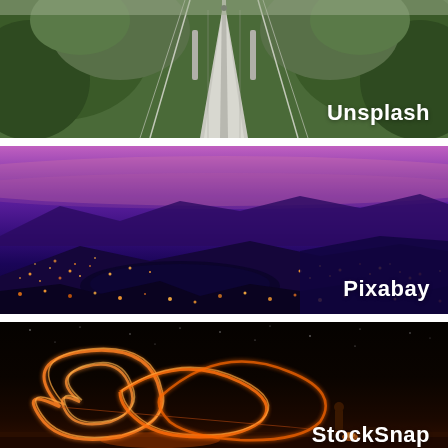[Figure (photo): Aerial view of a long suspension bridge disappearing into forested mountains, viewed from above along the center, with green/brown forest on both sides. White text label 'Unsplash' in bottom-right corner.]
[Figure (photo): Aerial night panoramic photo of a city lit up around a lake, with mountains in the background and a purple/pink twilight sky. White text label 'Pixabay' in bottom-right corner.]
[Figure (photo): Long-exposure night photo of light painting creating swirling orange loops, with a person standing near camping equipment on a dark hilltop, starry sky background. White text label 'StockSnap' in bottom-right corner.]